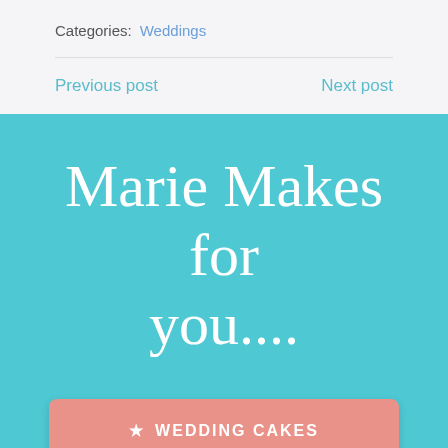Categories:  Weddings
Previous post    Next post
Marie Makes for you....
★  WEDDING CAKES